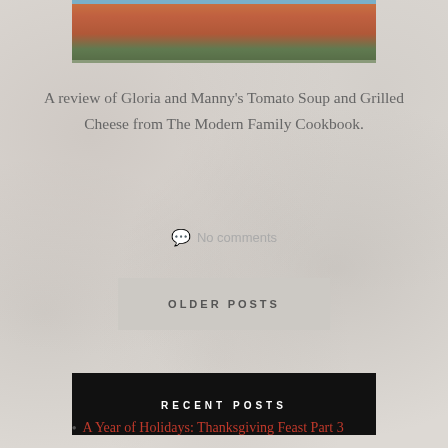[Figure (photo): Top portion of a bowl of tomato soup with a blue rim, on a marble background]
A review of Gloria and Manny's Tomato Soup and Grilled Cheese from The Modern Family Cookbook.
No comments
OLDER POSTS
RECENT POSTS
A Year of Holidays: Thanksgiving Feast Part 3